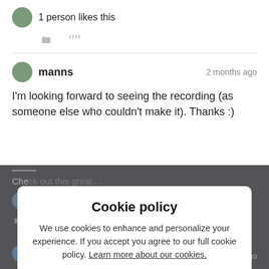1 person likes this
manns · 2 months ago
I'm looking forward to seeing the recording (as someone else who couldn't make it). Thanks :)
2 people like this
zachary.king · 2 months ago
Cookie policy
We use cookies to enhance and personalize your experience. If you accept you agree to our full cookie policy. Learn more about our cookies.
ACCEPT COOKIES
DENY ALL
Cookie settings